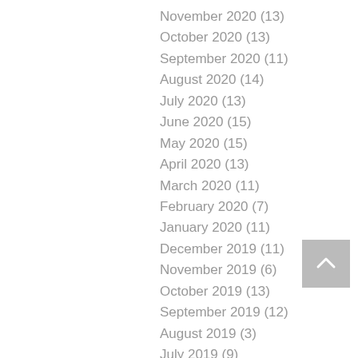November 2020 (13)
October 2020 (13)
September 2020 (11)
August 2020 (14)
July 2020 (13)
June 2020 (15)
May 2020 (15)
April 2020 (13)
March 2020 (11)
February 2020 (7)
January 2020 (11)
December 2019 (11)
November 2019 (6)
October 2019 (13)
September 2019 (12)
August 2019 (3)
July 2019 (9)
June 2019 (11)
May 2019 (10)
April 2019 (13)